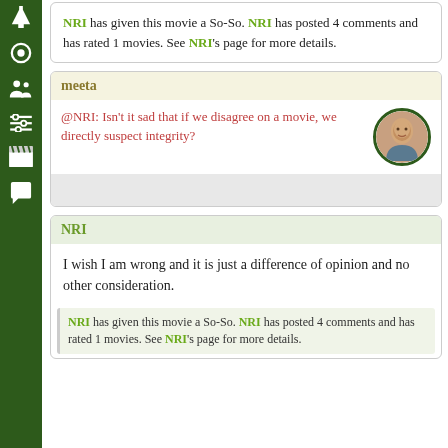[Figure (other): Dark green vertical sidebar with icons: up arrow, circle, person/group, sliders, clapperboard, chat bubble]
NRI has given this movie a So-So. NRI has posted 4 comments and has rated 1 movies. See NRI's page for more details.
meeta
@NRI: Isn't it sad that if we disagree on a movie, we directly suspect integrity?
NRI
I wish I am wrong and it is just a difference of opinion and no other consideration.
NRI has given this movie a So-So. NRI has posted 4 comments and has rated 1 movies. See NRI's page for more details.